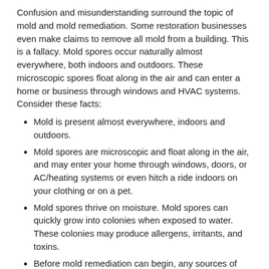Confusion and misunderstanding surround the topic of mold and mold remediation. Some restoration businesses even make claims to remove all mold from a building. This is a fallacy. Mold spores occur naturally almost everywhere, both indoors and outdoors. These microscopic spores float along in the air and can enter a home or business through windows and HVAC systems. Consider these facts:
Mold is present almost everywhere, indoors and outdoors.
Mold spores are microscopic and float along in the air, and may enter your home through windows, doors, or AC/heating systems or even hitch a ride indoors on your clothing or on a pet.
Mold spores thrive on moisture. Mold spores can quickly grow into colonies when exposed to water. These colonies may produce allergens, irritants, and toxins.
Before mold remediation can begin, any sources of water or moisture must be addressed. Otherwise, the mold may return.
Mold often produces a strong, musty odor and can be a strong, visible mold problem.